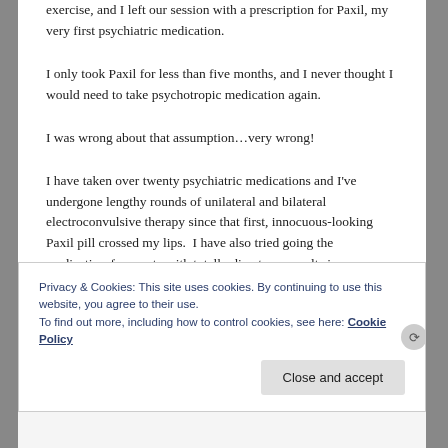exercise, and I left our session with a prescription for Paxil, my very first psychiatric medication.
I only took Paxil for less than five months, and I never thought I would need to take psychotropic medication again.
I was wrong about that assumption…very wrong!
I have taken over twenty psychiatric medications and I've undergone lengthy rounds of unilateral and bilateral electroconvulsive therapy since that first, innocuous-looking Paxil pill crossed my lips.  I have also tried going the medication-free route with totally disastrous results in
Privacy & Cookies: This site uses cookies. By continuing to use this website, you agree to their use.
To find out more, including how to control cookies, see here: Cookie Policy